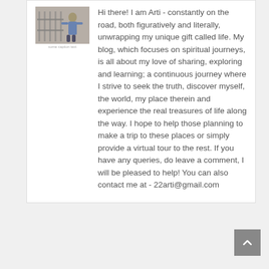[Figure (photo): A person near a metal gate or fence structure, appears to be outdoors]
Hi there! I am Arti - constantly on the road, both figuratively and literally, unwrapping my unique gift called life. My blog, which focuses on spiritual journeys, is all about my love of sharing, exploring and learning; a continuous journey where I strive to seek the truth, discover myself, the world, my place therein and experience the real treasures of life along the way. I hope to help those planning to make a trip to these places or simply provide a virtual tour to the rest. If you have any queries, do leave a comment, I will be pleased to help! You can also contact me at - 22arti@gmail.com